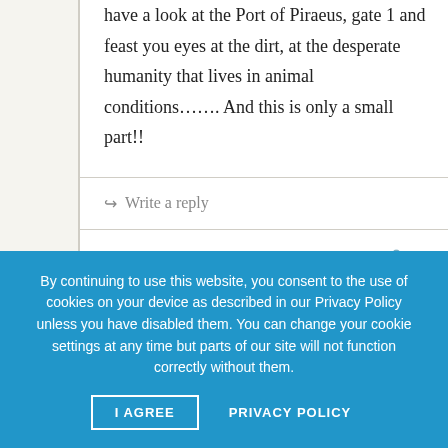have a look at the Port of Piraeus, gate 1 and feast you eyes at the dirt, at the desperate humanity that lives in animal conditions……. And this is only a small part!!
Write a reply
Gyorgy Gajdos · June 23rd, 2016 · That's why we need the European border control institutions. If we don't have them then
By continuing to use this website, you consent to the use of cookies on your device as described in our Privacy Policy unless you have disabled them. You can change your cookie settings at any time but parts of our site will not function correctly without them.
I AGREE
PRIVACY POLICY